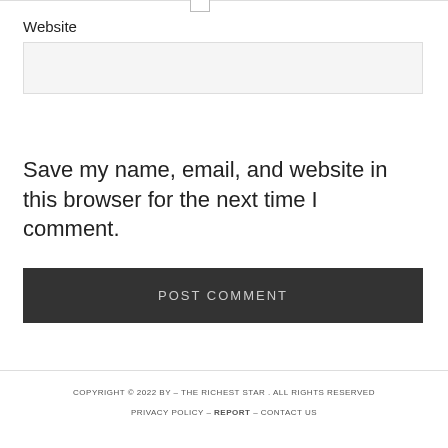Website
[Figure (other): Empty website input text field with light grey background]
[Figure (other): Unchecked checkbox]
Save my name, email, and website in this browser for the next time I comment.
POST COMMENT
COPYRIGHT © 2022 BY – THE RICHEST STAR . ALL RIGHTS RESERVED
PRIVACY POLICY – REPORT – CONTACT US